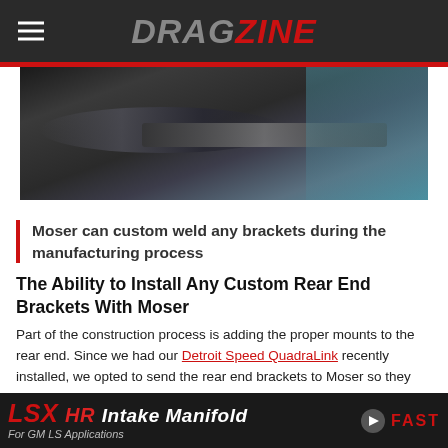DRAGZINE
[Figure (photo): Close-up photo of a metal axle or shaft being machined/manufactured, showing dark metallic parts with a blue highlight on the right side]
Moser can custom weld any brackets during the manufacturing process
The Ability to Install Any Custom Rear End Brackets With Moser
Part of the construction process is adding the proper mounts to the rear end. Since we had our Detroit Speed QuadraLink recently installed, we opted to send the rear end brackets to Moser so they could weld them on while building the housing.  "We work with a
[Figure (infographic): Advertisement banner for LSX HR Intake Manifold for GM LS Applications by FAST]